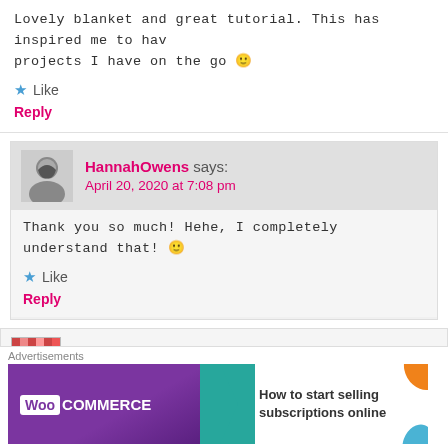Lovely blanket and great tutorial. This has inspired me to hav projects I have on the go 🙂
★ Like
Reply
HannahOwens says: April 20, 2020 at 7:08 pm
Thank you so much! Hehe, I completely understand that! 🙂
★ Like
Reply
bellasitaliangrille123 says:
[Figure (infographic): WooCommerce advertisement banner: 'How to start selling subscriptions online']